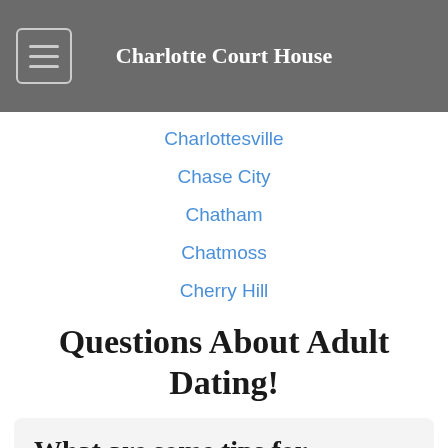Charlotte Court House
Charlottesville
Chase City
Chatham
Chatmoss
Cherry Hill
Questions About Adult Dating!
What are some tips for